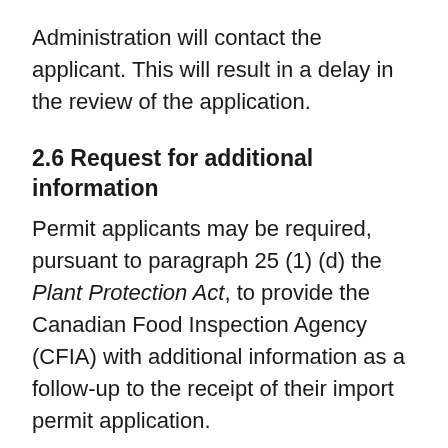Administration will contact the applicant. This will result in a delay in the review of the application.
2.6 Request for additional information
Permit applicants may be required, pursuant to paragraph 25 (1) (d) the Plant Protection Act, to provide the Canadian Food Inspection Agency (CFIA) with additional information as a follow-up to the receipt of their import permit application.
For the purpose of section 30 of the Plant Protection Regulations and as proof of a